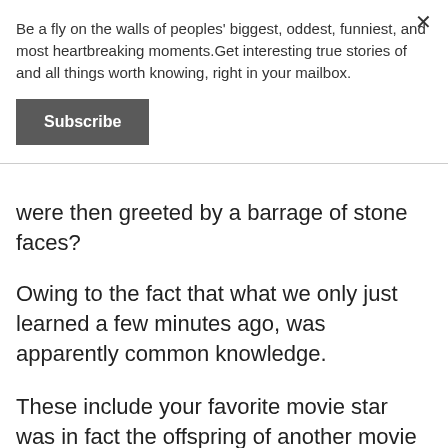Be a fly on the walls of peoples' biggest, oddest, funniest, and most heartbreaking moments.Get interesting true stories of and all things worth knowing, right in your mailbox.
Subscribe
were then greeted by a barrage of stone faces?
Owing to the fact that what we only just learned a few minutes ago, was apparently common knowledge.
These include your favorite movie star was in fact the offspring of another movie star, what gelatin is actually made of, or little tricks and strategies which make certain experiences so